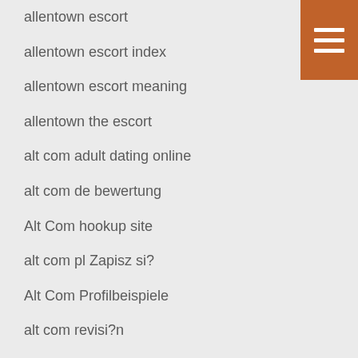allentown escort
allentown escort index
allentown escort meaning
allentown the escort
alt com adult dating online
alt com de bewertung
Alt Com hookup site
alt com pl Zapisz si?
Alt Com Profilbeispiele
alt com revisi?n
alt scott disick dating
Alt siti incontri single
alt visitors